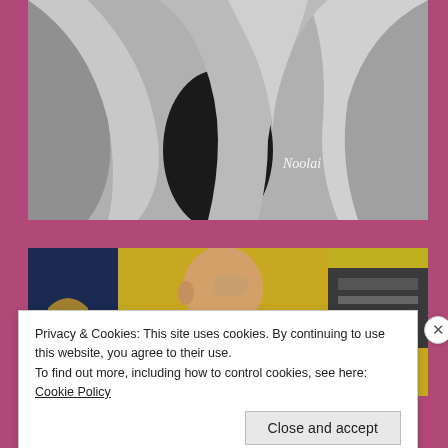[Figure (photo): Black and white close-up photo of fabric/clothing with a cursive brand logo 'Noolai' visible on the garment]
[Figure (photo): Color photo of a bald man with a mustache in a recording studio or similar environment with yellow walls and audio equipment in the background]
Privacy & Cookies: This site uses cookies. By continuing to use this website, you agree to their use.
To find out more, including how to control cookies, see here: Cookie Policy
Close and accept